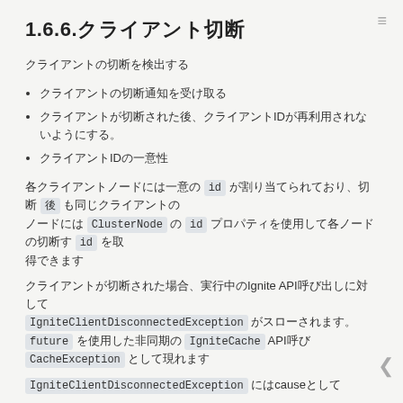1.6.6.クライアント切断
クライアントの切断を検出する
クライアントの切断通知を受け取る
クライアントが切断された後、クライアントIDが再利用されないようにする。
クライアントIDの一意性
各クライアントノードには一意の id が割り当てられており、切断 後 も同じ id は再利用されません。ClusterNode の id プロパティを使用して各ノードの id を取得できます。id は一意です。
クライアントが切断された場合、実行中の Ignite API呼び出しに対して IgniteClientDisconnectedException がスローされます。future を使用した非同期の IgniteCache API呼び出し は CacheException として現れます。
IgniteClientDisconnectedException にはcauseとして